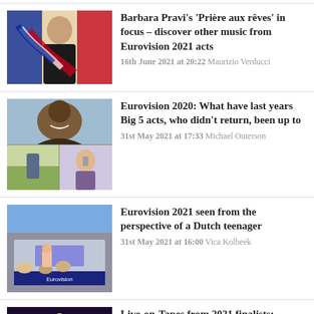[Figure (photo): Barbara Pravi holding a French flag, wearing a black outfit, on a beige background]
Barbara Pravi's 'Prière aux rêves' in focus – discover other music from Eurovision 2021 acts
16th June 2021 at 20:22 Maurizio Verducci
[Figure (photo): Collage of Eurovision Big 5 acts who didn't return: a smiling man looking up, a person in a field, a person on the phone]
Eurovision 2020: What have last years Big 5 acts, who didn't return, been up to
31st May 2021 at 17:33 Michael Outerson
[Figure (photo): Eurovision 2021 venue exterior and stage, seen from a Dutch teenager's perspective]
Eurovision 2021 seen from the perspective of a Dutch teenager
31st May 2021 at 16:00 Vica Kolbeek
[Figure (photo): Live-on-Tapes from 2021 finalists: colorful performers on stage]
Live-on-Tapes from 2021 finalists: